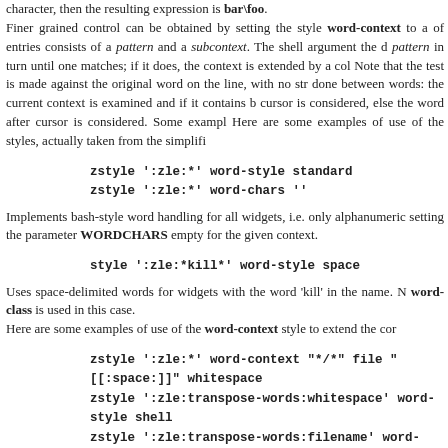character, then the resulting expression is bar\foo.
Finer grained control can be obtained by setting the style word-context to a list of entries consists of a pattern and a subcontext. The shell argument the d pattern in turn until one matches; if it does, the context is extended by a col Note that the test is made against the original word on the line, with no str done between words: the current context is examined and if it contains b cursor is considered, else the word after cursor is considered. Some exampl Here are some examples of use of the styles, actually taken from the simplifi
zstyle ':zle:*' word-style standard
zstyle ':zle:*' word-chars ''
Implements bash-style word handling for all widgets, i.e. only alphanumeric setting the parameter WORDCHARS empty for the given context.
style ':zle:*kill*' word-style space
Uses space-delimited words for widgets with the word 'kill' in the name. N word-class is used in this case.
Here are some examples of use of the word-context style to extend the cor
zstyle ':zle:*' word-context "*/*" file "[[:space:]]" whitespace
zstyle ':zle:transpose-words:whitespace' word-style shell
zstyle ':zle:transpose-words:filename' word-style normal
zstyle ':zle:transpose-words:filename' word-chars ''
This provides two different ways of using transpose-words depending on between words or on a filename, here any word containing a /. On whitesp by standard shell rules will be transposed. In a filename, only alphanum words will be transposed using the default style for :zle:transpose-words. The word matching and all the handling of zstyle settings is actually implem by-style. This can be used to create new user-defined widgets. The c parameter curcontext to :zle:widget, create the local parameter matche